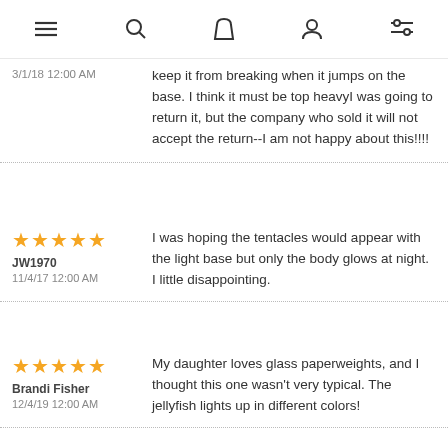Navigation icons: menu, search, bag, user, filters
keep it from breaking when it jumps on the base. I think it must be top heavy I was going to return it, but the company who sold it will not accept the return--I am not happy about this!!!!
3/1/18 12:00 AM
★★★★★
JW1970
11/4/17 12:00 AM
I was hoping the tentacles would appear with the light base but only the body glows at night. I little disappointing.
★★★★★
Brandi Fisher
12/4/19 12:00 AM
My daughter loves glass paperweights, and I thought this one wasn't very typical. The jellyfish lights up in different colors!
★★★★★
Garrett Graffe
12/16/17 12:00 AM
The jellyfish itself was fantastic! The base was as expected (I've seen them before, so I knew what it would be).Bought this one as a gift. The only complaint I have is that the glass had 2 scratches on